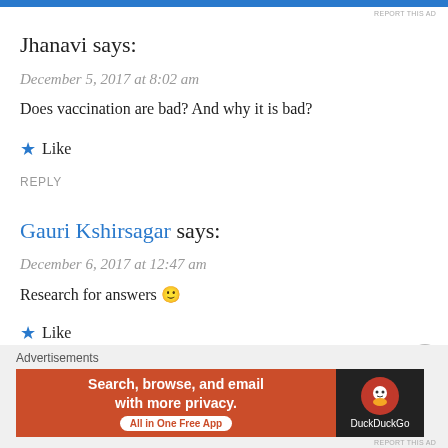[Figure (other): Blue advertisement bar at top of page with 'REPORT THIS AD' text]
Jhanavi says:
December 5, 2017 at 8:02 am
Does vaccination are bad? And why it is bad?
★ Like
REPLY
Gauri Kshirsagar says:
December 6, 2017 at 12:47 am
Research for answers 🙂
★ Like
REPLY
[Figure (other): DuckDuckGo advertisement banner: 'Search, browse, and email with more privacy. All in One Free App' with DuckDuckGo logo]